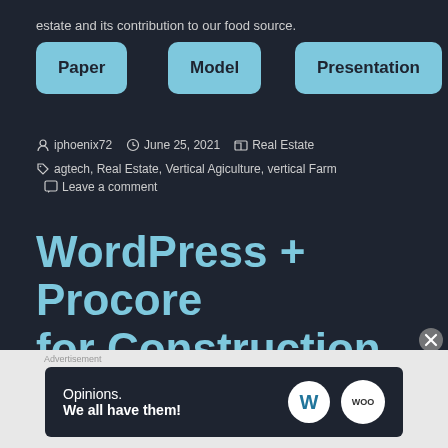estate and its contribution to our food source.
Paper
Model
Presentation
iphoenix72   June 25, 2021   Real Estate
agtech, Real Estate, Vertical Agiculture, vertical Farm   Leave a comment
WordPress + Procore for Construction
Advertisement
Opinions. We all have them!